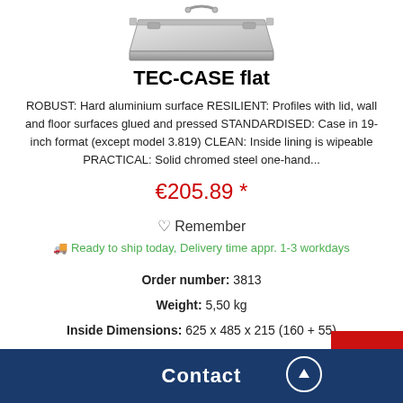[Figure (photo): Product photo of TEC-CASE flat aluminium case, silver/grey, top view at slight angle showing handle]
TEC-CASE flat
ROBUST: Hard aluminium surface RESILIENT: Profiles with lid, wall and floor surfaces glued and pressed STANDARDISED: Case in 19-inch format (except model 3.819) CLEAN: Inside lining is wipeable PRACTICAL: Solid chromed steel one-hand...
€205.89 *
♡ Remember
Ready to ship today, Delivery time appr. 1-3 workdays
Order number: 3813
Weight: 5,50 kg
Inside Dimensions: 625 x 485 x 215 (160 + 55)
Contact